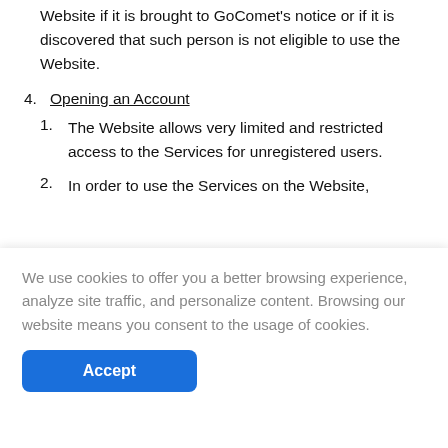Website if it is brought to GoComet's notice or if it is discovered that such person is not eligible to use the Website.
4. Opening an Account
1. The Website allows very limited and restricted access to the Services for unregistered users.
2. In order to use the Services on the Website,
We use cookies to offer you a better browsing experience, analyze site traffic, and personalize content. Browsing our website means you consent to the usage of cookies.